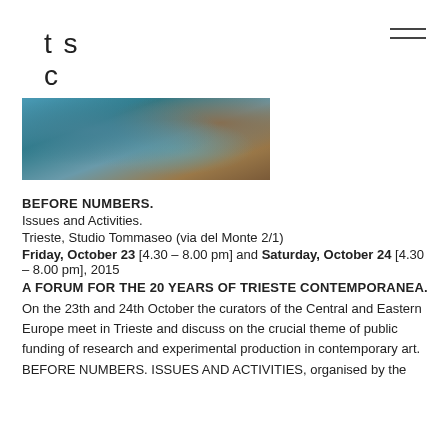t s c
ont
[Figure (photo): Close-up photo of a teal/turquoise metallic sculptural artwork with organic, net-like textures and bronze tones]
BEFORE NUMBERS.
Issues and Activities.
Trieste, Studio Tommaseo (via del Monte 2/1)
Friday, October 23 [4.30 – 8.00 pm] and Saturday, October 24 [4.30 – 8.00 pm], 2015
A FORUM FOR THE 20 YEARS OF TRIESTE CONTEMPORANEA.
On the 23th and 24th October the curators of the Central and Eastern Europe meet in Trieste and discuss on the crucial theme of public funding of research and experimental production in contemporary art.  BEFORE NUMBERS. ISSUES AND ACTIVITIES, organised by the